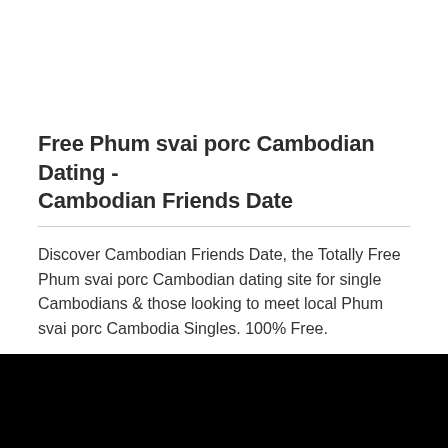Free Phum svai porc Cambodian Dating - Cambodian Friends Date
Discover Cambodian Friends Date, the Totally Free Phum svai porc Cambodian dating site for single Cambodians & those looking to meet local Phum svai porc Cambodia Singles. 100% Free.
[Figure (screenshot): A card/panel with light blue background showing the top of a person's head (gray hair) and a red X close button in the top right corner.]